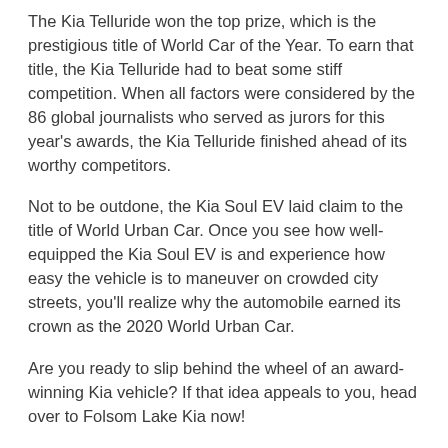The Kia Telluride won the top prize, which is the prestigious title of World Car of the Year. To earn that title, the Kia Telluride had to beat some stiff competition. When all factors were considered by the 86 global journalists who served as jurors for this year's awards, the Kia Telluride finished ahead of its worthy competitors.
Not to be outdone, the Kia Soul EV laid claim to the title of World Urban Car. Once you see how well-equipped the Kia Soul EV is and experience how easy the vehicle is to maneuver on crowded city streets, you'll realize why the automobile earned its crown as the 2020 World Urban Car.
Are you ready to slip behind the wheel of an award-winning Kia vehicle? If that idea appeals to you, head over to Folsom Lake Kia now!